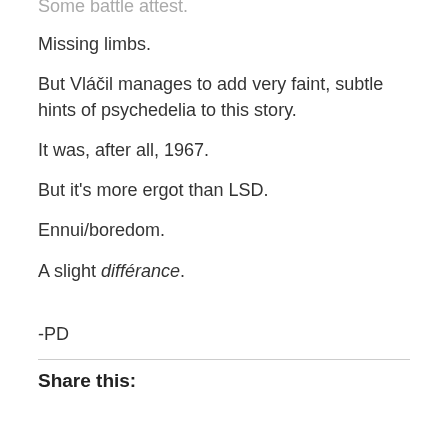Some battle attest.
Missing limbs.
But Vláčil manages to add very faint, subtle hints of psychedelia to this story.
It was, after all, 1967.
But it's more ergot than LSD.
Ennui/boredom.
A slight différance.
-PD
Share this: